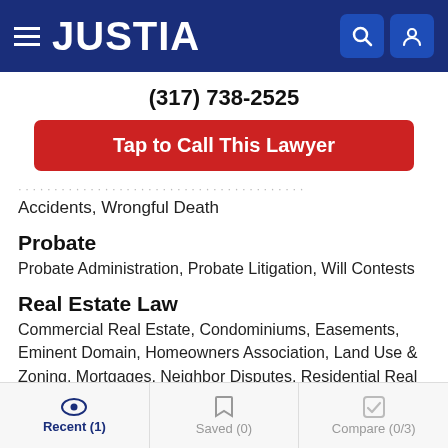JUSTIA
(317) 738-2525
Tap to Call This Lawyer
Accidents, Wrongful Death
Probate
Probate Administration, Probate Litigation, Will Contests
Real Estate Law
Commercial Real Estate, Condominiums, Easements, Eminent Domain, Homeowners Association, Land Use & Zoning, Mortgages, Neighbor Disputes, Residential Real Estate, Water Law
White Collar Crime
Recent (1)   Saved (0)   Compare (0/3)